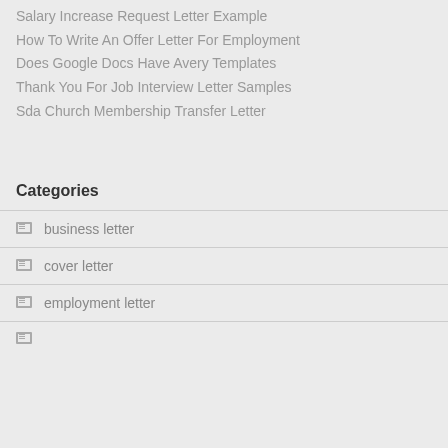Salary Increase Request Letter Example
How To Write An Offer Letter For Employment
Does Google Docs Have Avery Templates
Thank You For Job Interview Letter Samples
Sda Church Membership Transfer Letter
Categories
business letter
cover letter
employment letter